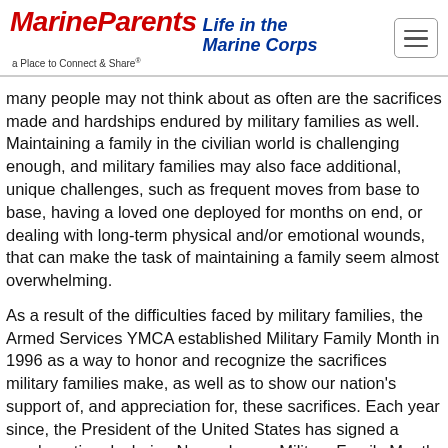MarineParents Life in the Marine Corps — a Place to Connect & Share®
many people may not think about as often are the sacrifices made and hardships endured by military families as well. Maintaining a family in the civilian world is challenging enough, and military families may also face additional, unique challenges, such as frequent moves from base to base, having a loved one deployed for months on end, or dealing with long-term physical and/or emotional wounds, that can make the task of maintaining a family seem almost overwhelming.
As a result of the difficulties faced by military families, the Armed Services YMCA established Military Family Month in 1996 as a way to honor and recognize the sacrifices military families make, as well as to show our nation's support of, and appreciation for, these sacrifices. Each year since, the President of the United States has signed a proclamation declaring November as Military Family Month.